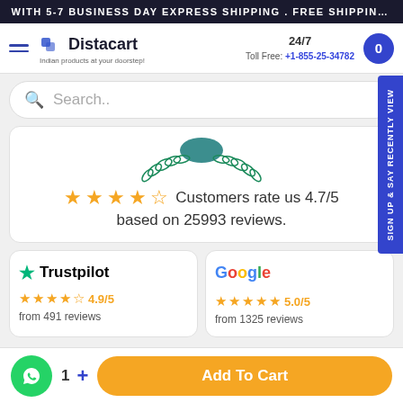WITH 5-7 BUSINESS DAY EXPRESS SHIPPING . FREE SHIPPING
[Figure (logo): Distacart logo with hamburger menu, 24/7 toll free number, and cart button]
Search..
[Figure (illustration): Badge/seal with laurel wreath in teal color]
Customers rate us 4.7/5 based on 25993 reviews.
Trustpilot 4.9/5 from 491 reviews
Google 5.0/5 from 1325 reviews
Add To Cart